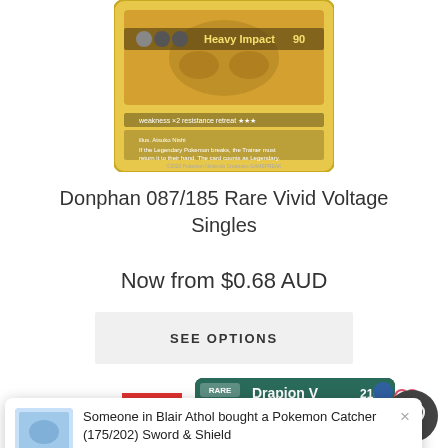[Figure (photo): Donphan Pokemon trading card (087/185) from Vivid Voltage set, showing Heavy Impact attack for 90 damage, yellow border card art]
Donphan 087/185 Rare Vivid Voltage Singles
Now from $0.68 AUD
SEE OPTIONS
[Figure (photo): SALE badge overlay on Drapion V Pokemon card showing 210 HP, dark teal header with purple body art]
[Figure (illustration): Heart/wishlist icon outline in pink/red, top right of second card]
Someone in Blair Athol bought a Pokemon Catcher (175/202) Sword & Shield
2 hours ago
[Figure (illustration): Floating circular dark grey button with white heart icon, bottom right corner]